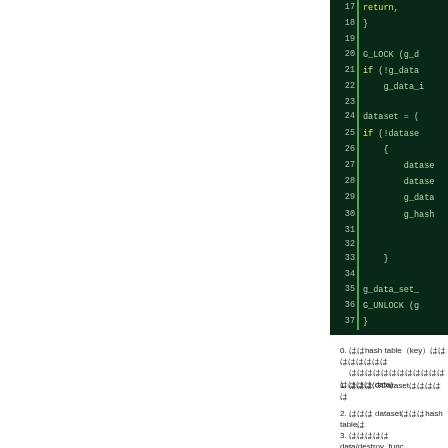[Figure (screenshot): Code editor screenshot showing C code lines 17-37 with dark green background. Line numbers on left separated by green vertical bar. Code shows return statement, closing brace, G_LOCK call, if statement checking g_data, g_data_i assignment, dataset assignment, if (!datase check, opening brace, dataset operations, g_data and g_hash operations, closing brace, g_data_set_ call, G_UNLOCK call, and closing brace.]
0. ははhash table key は はははははははは は は ははははははははははははははははははは(data)
1. はははGDatasetははははは
2. はははdatasetははhash table は
3. はははははdata/destroy_func